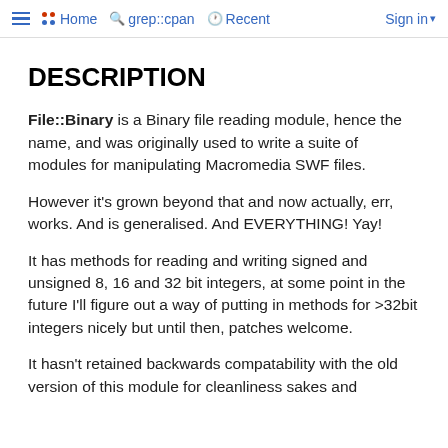≡  •• Home  🔍 grep::cpan  🕐 Recent  Sign in ▾
DESCRIPTION
File::Binary is a Binary file reading module, hence the name, and was originally used to write a suite of modules for manipulating Macromedia SWF files.
However it's grown beyond that and now actually, err, works. And is generalised. And EVERYTHING! Yay!
It has methods for reading and writing signed and unsigned 8, 16 and 32 bit integers, at some point in the future I'll figure out a way of putting in methods for >32bit integers nicely but until then, patches welcome.
It hasn't retained backwards compatability with the old version of this module for cleanliness sakes and